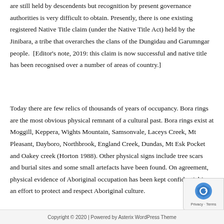are still held by descendents but recognition by present governance authorities is very difficult to obtain. Presently, there is one existing registered Native Title claim (under the Native Title Act) held by the Jinibara, a tribe that overarches the clans of the Dungidau and Garumngar people.  [Editor's note, 2019: this claim is now successful and native title has been recognised over a number of areas of country.]
Today there are few relics of thousands of years of occupancy. Bora rings are the most obvious physical remnant of a cultural past. Bora rings exist at Moggill, Keppera, Wights Mountain, Samsonvale, Laceys Creek, Mt Pleasant, Dayboro, Northbrook, England Creek, Dundas, Mt Esk Pocket and Oakey creek (Horton 1988). Other physical signs include tree scars and burial sites and some small artefacts have been found. On agreement, physical evidence of Aboriginal occupation has been kept confidential in an effort to protect and respect Aboriginal culture.
Copyright © 2020 | Powered by Asterix WordPress Theme